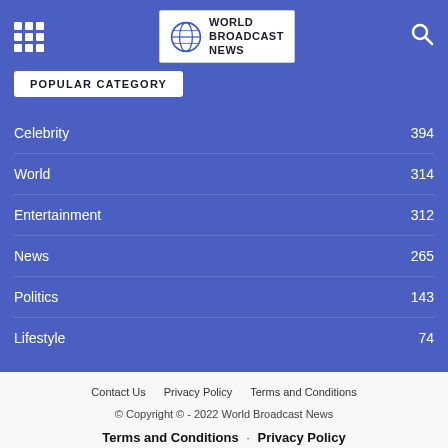World Broadcast News
POPULAR CATEGORY
Celebrity 394
World 314
Entertainment 312
News 265
Politics 143
Lifestyle 74
Contact Us   Privacy Policy   Terms and Conditions
© Copyright © - 2022 World Broadcast News
Terms and Conditions · Privacy Policy